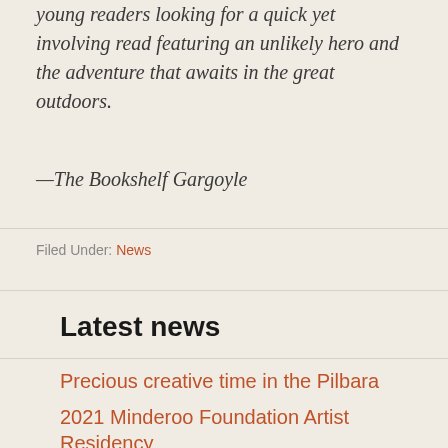young readers looking for a quick yet involving read featuring an unlikely hero and the adventure that awaits in the great outdoors.
—The Bookshelf Gargoyle
Filed Under: News
Latest news
Precious creative time in the Pilbara
2021 Minderoo Foundation Artist Residency